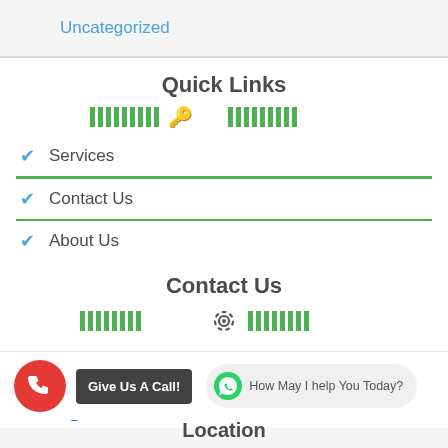Uncategorized
Quick Links
Services
Contact Us
About Us
Contact Us
Al Barsha – Dubai – United Arab Emirates
: 052 9533381
info@locksmithsdubai.ae
Give Us A Call!
How May I help You Today?
Location